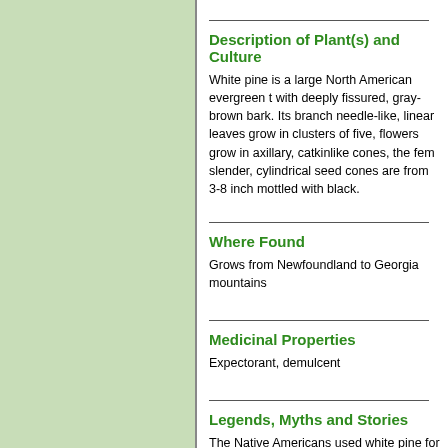Description of Plant(s) and Culture
White pine is a large North American evergreen tree with deeply fissured, gray-brown bark. Its branches needle-like, linear leaves grow in clusters of five, flowers grow in axillary, catkinlike cones, the female slender, cylindrical seed cones are from 3-8 inches mottled with black.
Where Found
Grows from Newfoundland to Georgia mountains
Medicinal Properties
Expectorant, demulcent
Legends, Myths and Stories
The Native Americans used white pine for making
Long been used for lumber and wood pulp, the ti